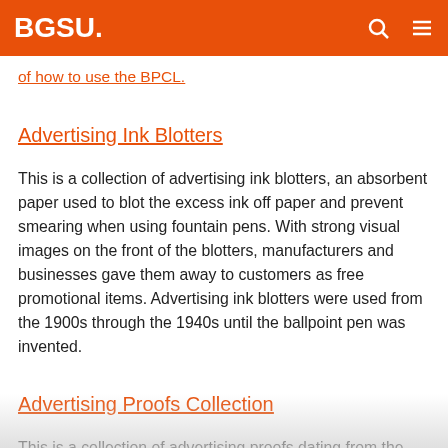BGSU.
of how to use the BPCL.
Advertising Ink Blotters
This is a collection of advertising ink blotters, an absorbent paper used to blot the excess ink off paper and prevent smearing when using fountain pens. With strong visual images on the front of the blotters, manufacturers and businesses gave them away to customers as free promotional items. Advertising ink blotters were used from the 1900s through the 1940s until the ballpoint pen was invented.
Advertising Proofs Collection
This is a collection of advertising proofs dating from the mid-to-late 1960s primarily. The proofs include advertising for various products and some list the magazine in which the ads were to be inserted, such as Reader's Digest, Field & Stream